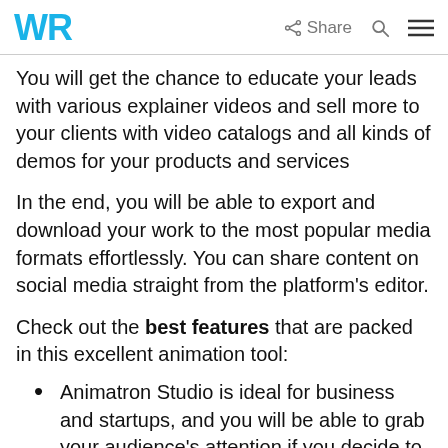WR | Share [search] [menu]
You will get the chance to educate your leads with various explainer videos and sell more to your clients with video catalogs and all kinds of demos for your products and services
In the end, you will be able to export and download your work to the most popular media formats effortlessly. You can share content on social media straight from the platform’s editor.
Check out the best features that are packed in this excellent animation tool:
Animatron Studio is ideal for business and startups, and you will be able to grab your audience’s attention if you decide to use it
You will get to use more than 200 pre-